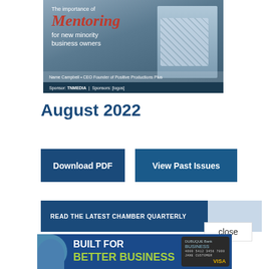[Figure (photo): Magazine cover showing a man in a plaid shirt, with the title 'Mentoring for new minority business owners' and logos at the bottom including TN MEDIA]
August 2022
Download PDF
View Past Issues
READ THE LATEST CHAMBER QUARTERLY
close
[Figure (photo): Advertisement banner reading 'BUILT FOR BETTER BUSINESS' with a Dubuque Bank business Visa card image]